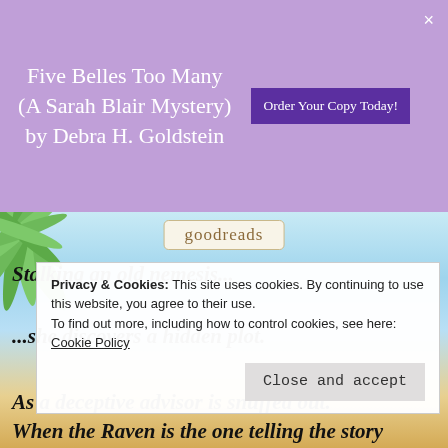Five Belles Too Many (A Sarah Blair Mystery) by Debra H. Goldstein
[Figure (screenshot): Purple banner ad with book title and 'Order Your Copy Today!' button, with close X]
[Figure (illustration): Beach scene background with palm leaves, sky, sand, and Goodreads logo badge]
Stalking an old nemesis...
...she discovers a hidden plot.
As a deceptive advisor is snuffed out.
Penny Nicols brings her “gift” to Billington.
Privacy & Cookies: This site uses cookies. By continuing to use this website, you agree to their use.
To find out more, including how to control cookies, see here: Cookie Policy
When the Raven is the one telling the story